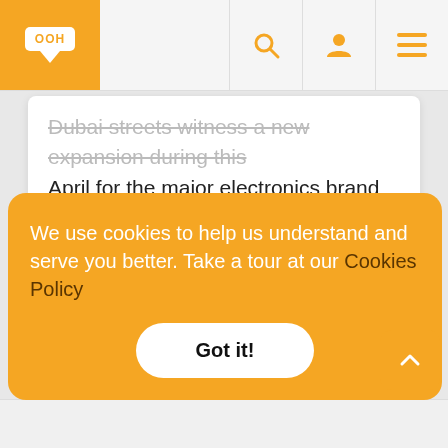OOH website header with logo and navigation icons
Dubai streets witness a new expansion during this April for the major electronics brand OPPO, where it continues to show up on the billboards of Dubai with an OOH advertising campaign continue to
2 Reviews - 5.00 Stars
We use cookies to help us understand and serve you better. Take a tour at our Cookies Policy
Got it!